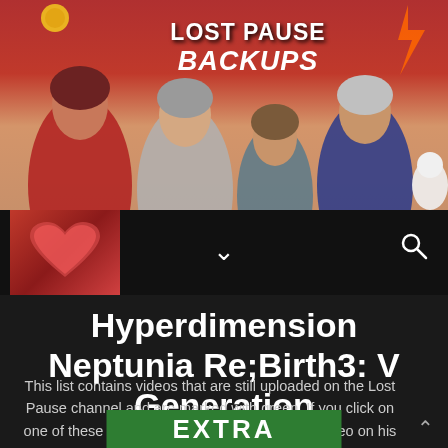[Figure (illustration): Banner image showing anime-style characters with text 'LOST PAUSE BACKUPS' on a red and tan background]
[Figure (screenshot): Navigation bar with a red heart icon/logo on the left, a chevron-down symbol in the center, and a search (magnifying glass) icon on the right, on a black background]
Hyperdimension Neptunia Re;Birth3: V Generation
This list contains videos that are still uploaded on the Lost Pause channel and are marked with green. If you click on one of these videos you'll be redirected to the video on his channel.
EXTRA